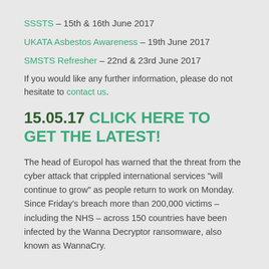SSSTS – 15th & 16th June 2017
UKATA Asbestos Awareness – 19th June 2017
SMSTS Refresher – 22nd & 23rd June 2017
If you would like any further information, please do not hesitate to contact us.
15.05.17 CLICK HERE TO GET THE LATEST!
The head of Europol has warned that the threat from the cyber attack that crippled international services "will continue to grow" as people return to work on Monday. Since Friday's breach more than 200,000 victims – including the NHS – across 150 countries have been infected by the Wanna Decryptor ransomware, also known as WannaCry.